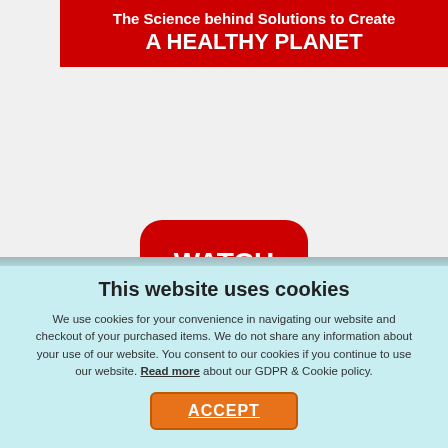[Figure (screenshot): Red banner with white text reading 'The Science behind Solutions to Create A HEALTHY PLANET' on a light gray background]
[Figure (other): Red rounded rectangle button with white bold text 'WATCH NOW']
This website uses cookies
We use cookies for your convenience in navigating our website and checkout of your purchased items. We do not share any information about your use of our website. You consent to our cookies if you continue to use our website. Read more about our GDPR & Cookie policy.
[Figure (other): Orange ACCEPT button with border]